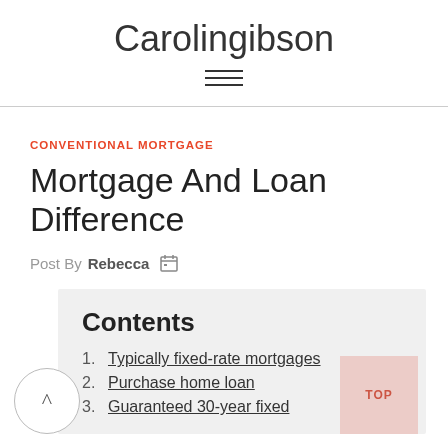Carolingibson
CONVENTIONAL MORTGAGE
Mortgage And Loan Difference
Post By Rebecca
Contents
1. Typically fixed-rate mortgages
2. Purchase home loan
3. Guaranteed 30-year fixed